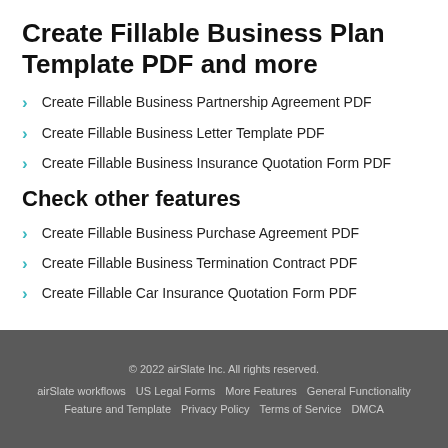Create Fillable Business Plan Template PDF and more
Create Fillable Business Partnership Agreement PDF
Create Fillable Business Letter Template PDF
Create Fillable Business Insurance Quotation Form PDF
Check other features
Create Fillable Business Purchase Agreement PDF
Create Fillable Business Termination Contract PDF
Create Fillable Car Insurance Quotation Form PDF
© 2022 airSlate Inc. All rights reserved. airSlate workflows  US Legal Forms  More Features  General Functionality  Feature and Template  Privacy Policy  Terms of Service  DMCA